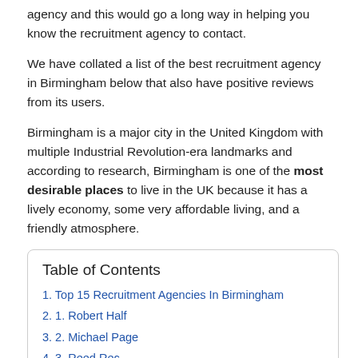agency and this would go a long way in helping you know the recruitment agency to contact.
We have collated a list of the best recruitment agency in Birmingham below that also have positive reviews from its users.
Birmingham is a major city in the United Kingdom with multiple Industrial Revolution-era landmarks and according to research, Birmingham is one of the most desirable places to live in the UK because it has a lively economy, some very affordable living, and a friendly atmosphere.
Table of Contents
1. Top 15 Recruitment Agencies In Birmingham
2. 1. Robert Half
3. 2. Michael Page
4. 3. Reed Recruitment Agency